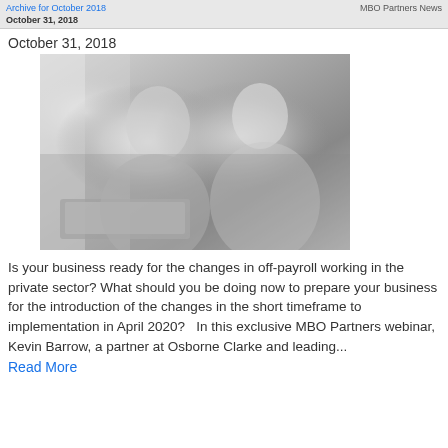Archive for October 2018 | MBO Partners News
October 31, 2018
October 31, 2018
[Figure (photo): Black and white photo of a man and woman looking at a laptop together in an office setting]
Is your business ready for the changes in off-payroll working in the private sector? What should you be doing now to prepare your business for the introduction of the changes in the short timeframe to implementation in April 2020?   In this exclusive MBO Partners webinar, Kevin Barrow, a partner at Osborne Clarke and leading...
Read More